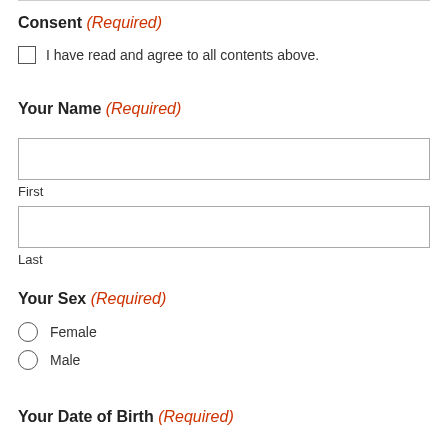Consent (Required)
I have read and agree to all contents above.
Your Name (Required)
First
Last
Your Sex (Required)
Female
Male
Your Date of Birth (Required)